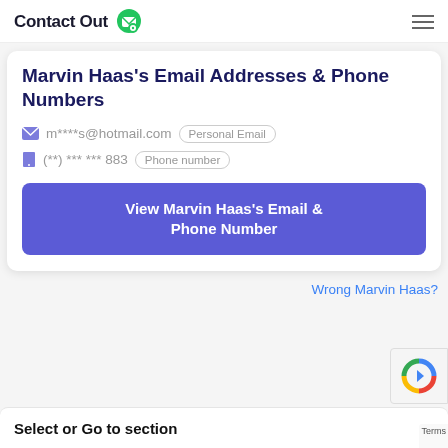ContactOut [logo]
Marvin Haas's Email Addresses & Phone Numbers
m****s@hotmail.com  Personal Email
(**) *** *** 883  Phone number
View Marvin Haas's Email & Phone Number
Wrong Marvin Haas?
Select or Go to section